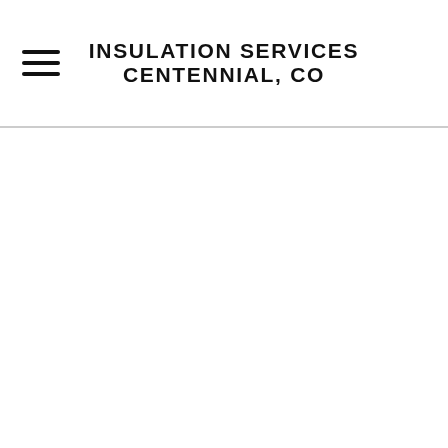INSULATION SERVICES CENTENNIAL, CO